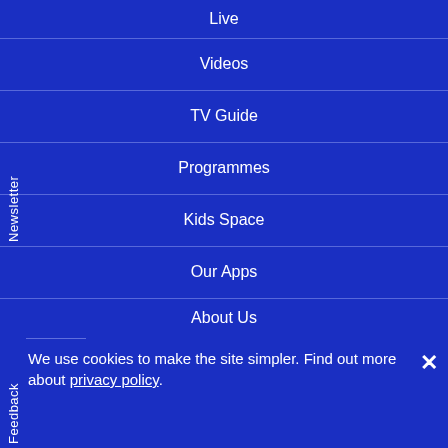Live
Videos
TV Guide
Programmes
Kids Space
Our Apps
About Us
We use cookies to make the site simpler. Find out more about privacy policy.